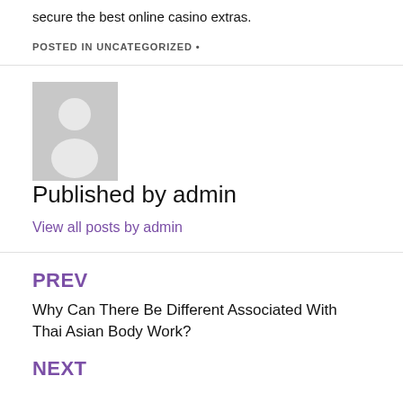secure the best online casino extras.
POSTED IN UNCATEGORIZED •
[Figure (illustration): Grey avatar placeholder with a white silhouette of a person (head and shoulders)]
Published by admin
View all posts by admin
PREV
Why Can There Be Different Associated With Thai Asian Body Work?
NEXT